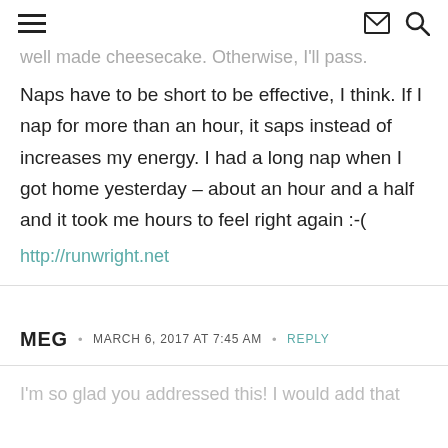≡  ✉  🔍
well made cheesecake. Otherwise, I'll pass.
Naps have to be short to be effective, I think. If I nap for more than an hour, it saps instead of increases my energy. I had a long nap when I got home yesterday – about an hour and a half and it took me hours to feel right again :-(
http://runwright.net
MEG • MARCH 6, 2017 AT 7:45 AM • REPLY
I'm so glad you addressed this! I would add that